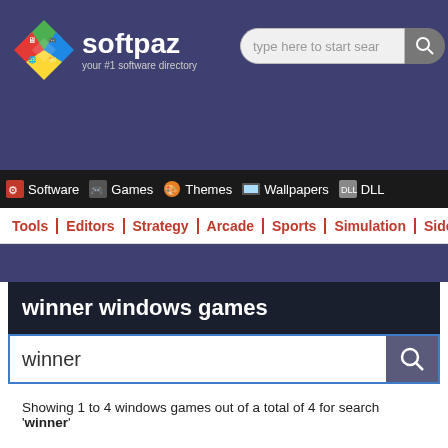[Figure (logo): Softpaz logo with diamond icons and text 'softpaz - your #1 software directory']
type here to start search
Software | Games | Themes | Wallpapers | DLL
Tools | Editors | Strategy | Arcade | Sports | Simulation | Sidescroller
winner windows games
winner
Showing 1 to 4 windows games out of a total of 4 for search 'winner'